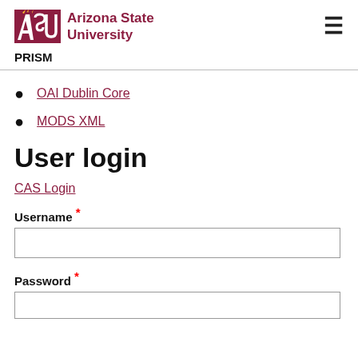[Figure (logo): Arizona State University logo with ASU text in maroon and gold sunburst, and 'Arizona State University' text beside it]
PRISM
OAI Dublin Core
MODS XML
User login
CAS Login
Username *
Password *